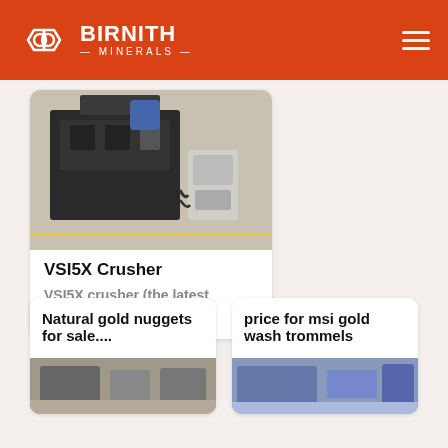BIRNITH MINERALS
[Figure (photo): VSI5X Crusher industrial machine in a factory setting]
VSI5X Crusher
VSI5X crusher (the latest vertical shaft...
Natural gold nuggets for sale....
price for msi gold wash trommels
[Figure (photo): Industrial machinery photo - bottom left card]
[Figure (photo): Industrial machinery photo - bottom right card]